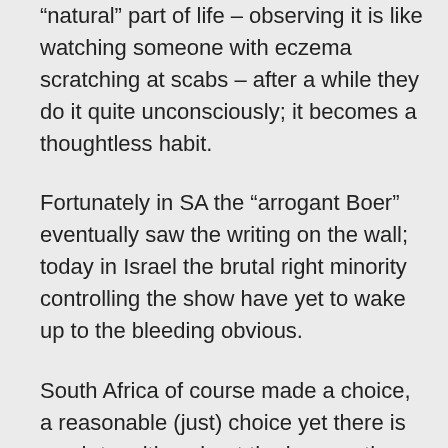“natural” part of life – observing it is like watching someone with eczema scratching at scabs – after a while they do it quite unconsciously; it becomes a thoughtless habit.
Fortunately in SA the “arrogant Boer” eventually saw the writing on the wall; today in Israel the brutal right minority controlling the show have yet to wake up to the bleeding obvious.
South Africa of course made a choice, a reasonable (just) choice yet there is much to critise about the journey they have began.